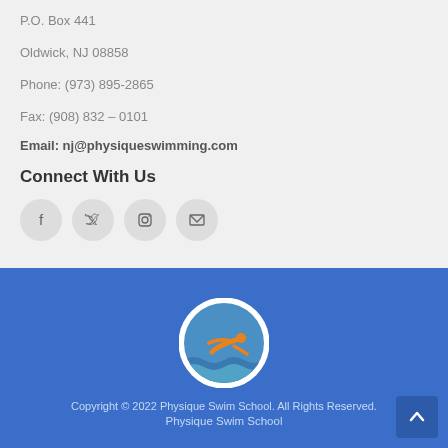P.O. Box 441
Oldwick, NJ 08858
Phone: (973) 895-2865
Fax: (908) 832 – 0101
Email: nj@physiqueswimming.com
Connect With Us
[Figure (other): Social media icons: Facebook, Twitter, Instagram, Email]
[Figure (logo): Physique Swim School circular logo with swimmer icon in orange and blue waves on blue background]
Copyright © 2022 Physique Swim School. All Rights Reserved.
Physique Swim School